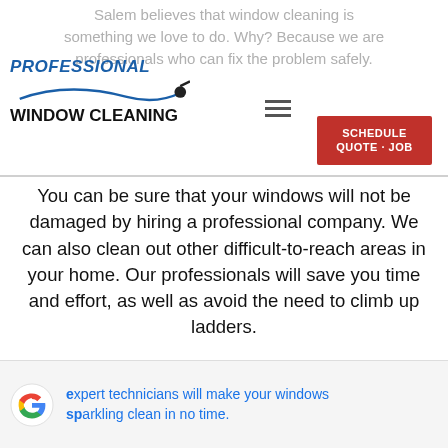Salem believes that window cleaning is something we love to do. Why? Because we are professionals who can fix the problem safely.
[Figure (logo): Professional Window Cleaning logo with blue italic text and squeegee graphic]
[Figure (other): Red Schedule Quote Job button and red Call Now button]
You can be sure that your windows will not be damaged by hiring a professional company. We can also clean out other difficult-to-reach areas in your home. Our professionals will save you time and effort, as well as avoid the need to climb up ladders.
Our expert technicians will make your windows sparkling clean in no time.
expert technicians will make your windows sparkling clean in no time.